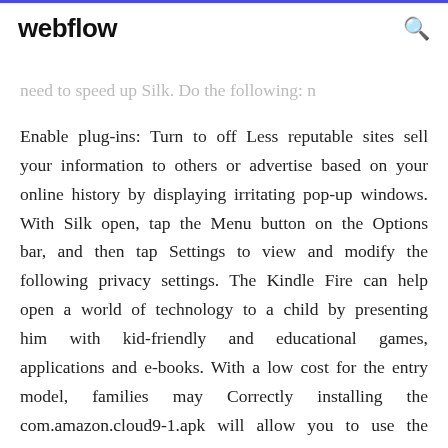webflow
need to speed up Silk. Do the following: n Enable plug-ins: Turn to off Less reputable sites sell your information to others or advertise based on your online history by displaying irritating pop-up windows. With Silk open, tap the Menu button on the Options bar, and then tap Settings to view and modify the following privacy settings. The Kindle Fire can help open a world of technology to a child by presenting him with kid-friendly and educational games, applications and e-books. With a low cost for the entry model, families may Correctly installing the com.amazon.cloud9-1.apk will allow you to use the Silk browser as your default browser on any rooted Android device.